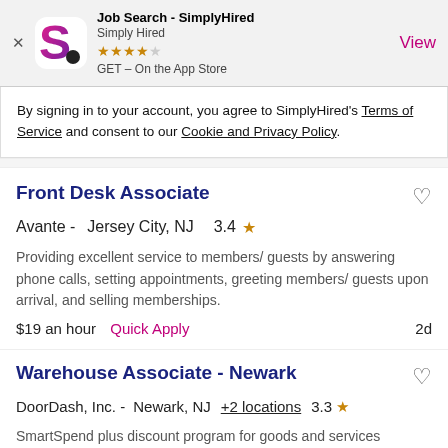[Figure (logo): SimplyHired app banner with logo, app name, developer, star rating (4 out of 5), GET on App Store, and View button]
By signing in to your account, you agree to SimplyHired's Terms of Service and consent to our Cookie and Privacy Policy.
Front Desk Associate
Avante -  Jersey City, NJ   3.4 ★
Providing excellent service to members/ guests by answering phone calls, setting appointments, greeting members/ guests upon arrival, and selling memberships.
$19 an hour   Quick Apply   2d
Warehouse Associate - Newark
DoorDash, Inc. -  Newark, NJ  +2 locations  3.3 ★
SmartSpend plus discount program for goods and services (including several cell phone discount plans). Pick orders that